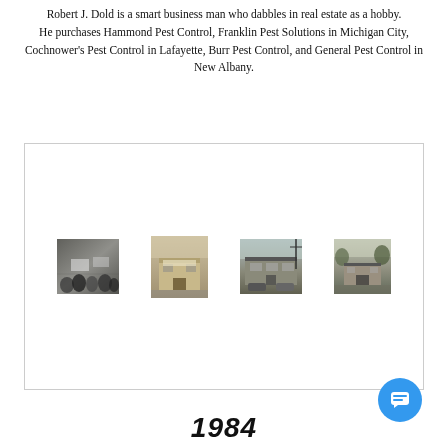Robert J. Dold is a smart business man who dabbles in real estate as a hobby. He purchases Hammond Pest Control, Franklin Pest Solutions in Michigan City, Cochnower's Pest Control in Lafayette, Burr Pest Control, and General Pest Control in New Albany.
[Figure (photo): Four black-and-white historical photographs arranged in a row inside a bordered box. Photos show various pest control business locations and scenes.]
1984